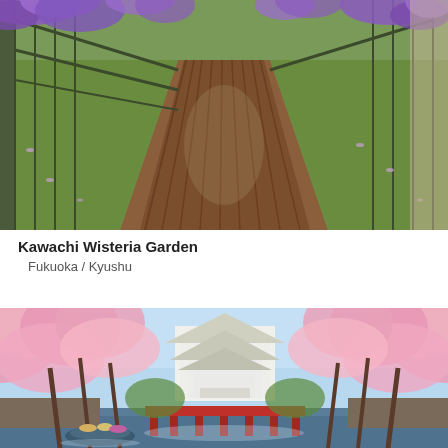[Figure (photo): Wisteria tunnel with purple flowers hanging overhead along a wooden walkway path, with green lattice structures on both sides, fallen petals on the ground.]
Kawachi Wisteria Garden
Fukuoka  /  Kyushu
[Figure (photo): Himeji Castle surrounded by blooming pink cherry blossom trees, with a red bridge over a moat, and a small boat with passengers in traditional hats on the water below.]